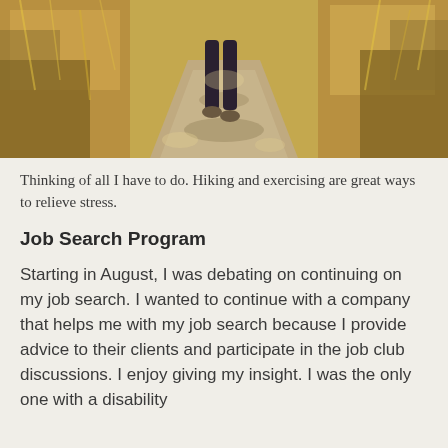[Figure (photo): A person walking on a dirt trail surrounded by golden dry grasses and brush, shot from behind showing lower legs and feet, with dappled sunlight on the path.]
Thinking of all I have to do. Hiking and exercising are great ways to relieve stress.
Job Search Program
Starting in August, I was debating on continuing on my job search. I wanted to continue with a company that helps me with my job search because I provide advice to their clients and participate in the job club discussions. I enjoy giving my insight. I was the only one with a disability